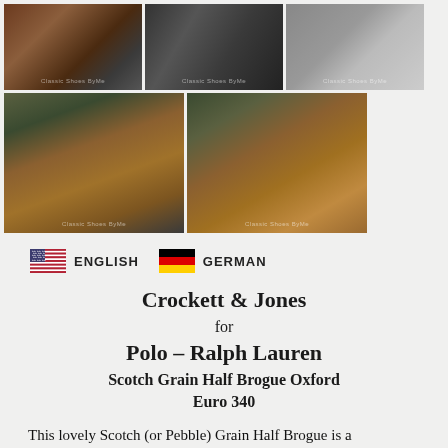[Figure (photo): Grid of 5 shoe photos showing tan/brown leather Crockett & Jones Oxford brogue shoes from various angles, on dark green fabric background. Top row has 3 photos showing soles and details; bottom row has 2 photos showing the shoes from the side.]
[Figure (infographic): Language selector bar with US flag and ENGLISH label, German flag and GERMAN label]
Crockett & Jones for Polo – Ralph Lauren Scotch Grain Half Brogue Oxford Euro 340
This lovely Scotch (or Pebble) Grain Half Brogue is a contemporary Crockett production for Polo's flagship boutiques in New York, San Francisco and London